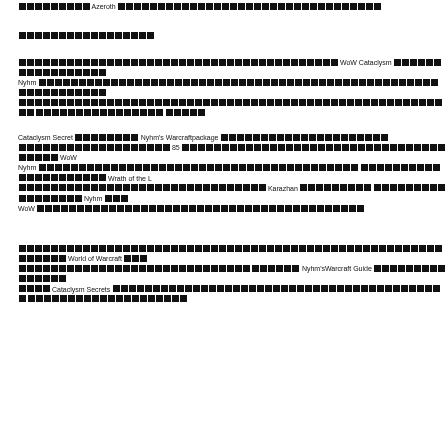... Azeroth ... WoW Cataclysm ... Nyhm ...
[Thai text heading]
[Thai text] WoW Cataclysm [Thai text] Nyhm [Thai text]
Cataclysm Secret [Thai text] Nyhm's Warcraftpackage [Thai text] 85 [Thai text] Wrath of the [Thai text] Karazhan [Thai text] Nyhm [Thai text] WoW [Thai text]
[Thai text] World of Warcraft [Thai text] Nyhm'sWarcraft Guide [Thai text] Cataclysm Secrets [Thai text]